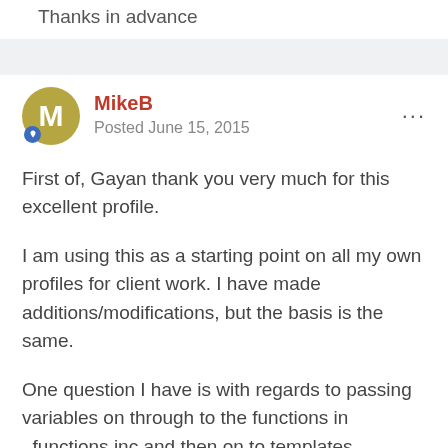Thanks in advance
MikeB
Posted June 15, 2015
First of, Gayan thank you very much for this excellent profile.

I am using this as a starting point on all my own profiles for client work. I have made additions/modifications, but the basis is the same.

One question I have is with regards to passing variables on through to the functions in _functions.inc and then on to templates.

Specifically I am using Ryan's excellent form builder